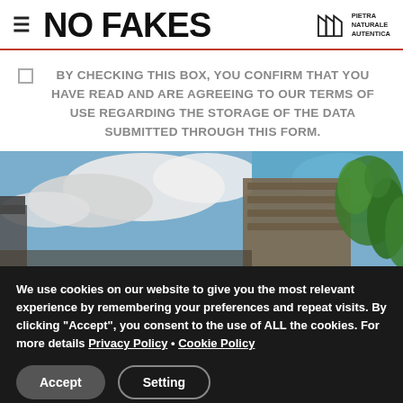NO FAKES | PIETRA NATURALE AUTENTICA
BY CHECKING THIS BOX, YOU CONFIRM THAT YOU HAVE READ AND ARE AGREEING TO OUR TERMS OF USE REGARDING THE STORAGE OF THE DATA SUBMITTED THROUGH THIS FORM.
[Figure (photo): Upward angle photo of a stone building exterior with ivy/green plants on the right and blue sky with clouds in background.]
We use cookies on our website to give you the most relevant experience by remembering your preferences and repeat visits. By clicking “Accept”, you consent to the use of ALL the cookies. For more details Privacy Policy • Cookie Policy
Accept | Setting